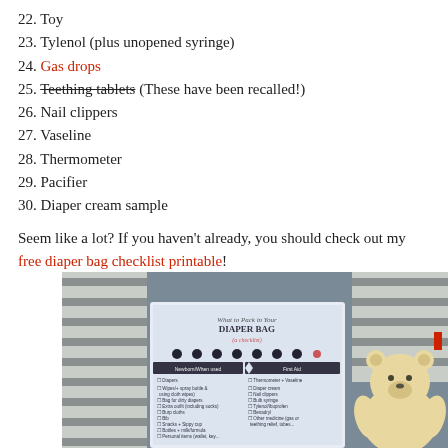22. Toy
23. Tylenol (plus unopened syringe)
24. Gas drops
25. Teething tablets (These have been recalled!)
26. Nail clippers
27. Vaseline
28. Thermometer
29. Pacifier
30. Diaper cream sample
Seem like a lot? If you haven't already, you should check out my free diaper bag checklist printable!
[Figure (photo): A photo of a diaper bag with chevron pattern and a printed checklist titled 'What to Pack in Your Diaper Bag (a checklist)' with a teddy bear visible.]